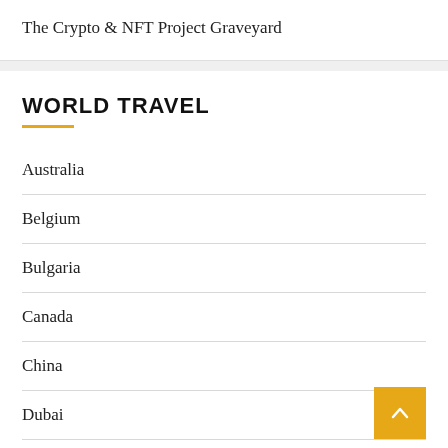The Crypto & NFT Project Graveyard
WORLD TRAVEL
Australia
Belgium
Bulgaria
Canada
China
Dubai
Egypt